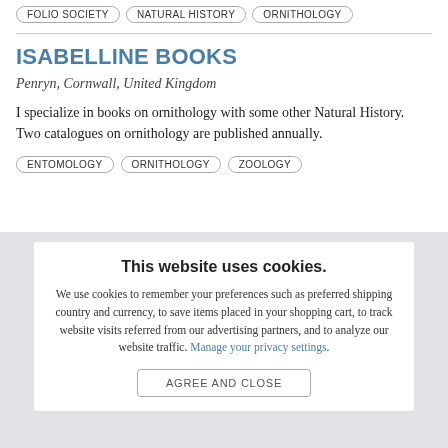FOLIO SOCIETY
NATURAL HISTORY
ORNITHOLOGY
ISABELLINE BOOKS
Penryn, Cornwall, United Kingdom
I specialize in books on ornithology with some other Natural History. Two catalogues on ornithology are published annually.
ENTOMOLOGY
ORNITHOLOGY
ZOOLOGY
This website uses cookies.
We use cookies to remember your preferences such as preferred shipping country and currency, to save items placed in your shopping cart, to track website visits referred from our advertising partners, and to analyze our website traffic. Manage your privacy settings.
AGREE AND CLOSE